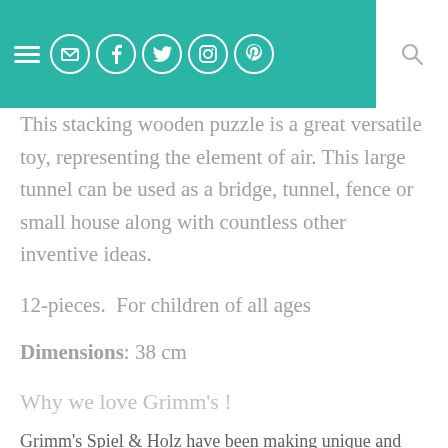[Navigation bar with hamburger menu, email, facebook, twitter, instagram, pinterest icons and search]
This stacking wooden puzzle is a great versatile toy, representing the element of air. This large tunnel can be used as a bridge, tunnel, fence or small house along with countless other inventive ideas.
12-pieces.  For children of all ages
Dimensions: 38 cm
Why we love Grimm's !
Grimm's Spiel & Holz have been making unique and distinctive natural wooden toys since 1978.
Grimm's natural toys are well renowned in